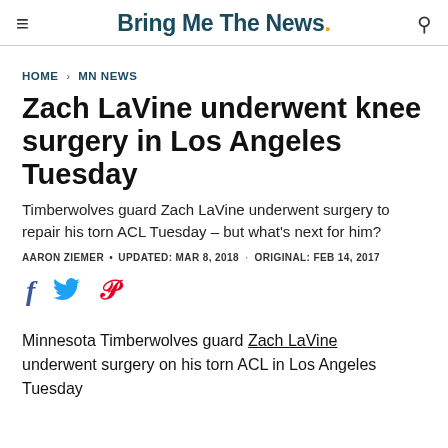Bring Me The News.
HOME > MN NEWS
Zach LaVine underwent knee surgery in Los Angeles Tuesday
Timberwolves guard Zach LaVine underwent surgery to repair his torn ACL Tuesday – but what's next for him?
AARON ZIEMER • UPDATED: MAR 8, 2018 · ORIGINAL: FEB 14, 2017
[Figure (infographic): Social sharing icons: Facebook (f), Twitter (bird), Pinterest (P)]
Minnesota Timberwolves guard Zach LaVine underwent surgery on his torn ACL in Los Angeles Tuesday